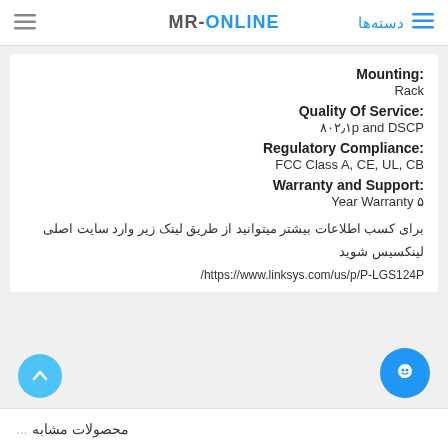MR-ONLINE | دسته‌ها
Mounting:
Rack
Quality Of Service:
۸۰۲٫۱p and DSCP
Regulatory Compliance:
FCC Class A, CE, UL, CB
Warranty and Support:
Year Warranty ۵
برای کسب اطلاعات بیشتر میتوانید از طریق لینک زیر وارد سایت اصلی لینکسیس شوید
https://www.linksys.com/us/p/P-LGS124P/
محصولات مشابه